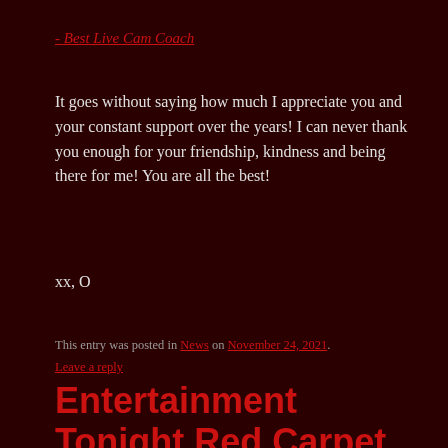- Best Live Cam Coach
It goes without saying how much I appreciate you and your constant support over the years! I can never thank you enough for your friendship, kindness and being there for me! You are all the best!
xx, O
This entry was posted in News on November 24, 2021.
Leave a reply
Entertainment Tonight Red Carpet Ranking!